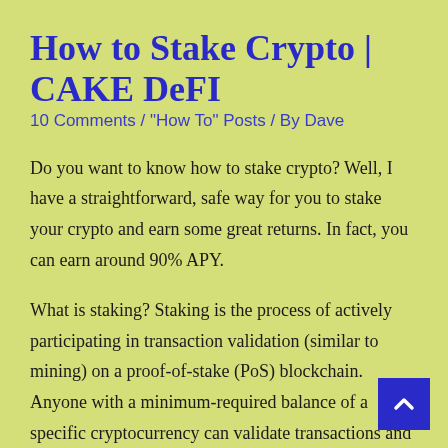How to Stake Crypto | CAKE DeFI
10 Comments / "How To" Posts / By Dave
Do you want to know how to stake crypto? Well, I have a straightforward, safe way for you to stake your crypto and earn some great returns. In fact, you can earn around 90% APY.
What is staking? Staking is the process of actively participating in transaction validation (similar to mining) on a proof-of-stake (PoS) blockchain. Anyone with a minimum-required balance of a specific cryptocurrency can validate transactions and earn Staking rewards on these blockchains.